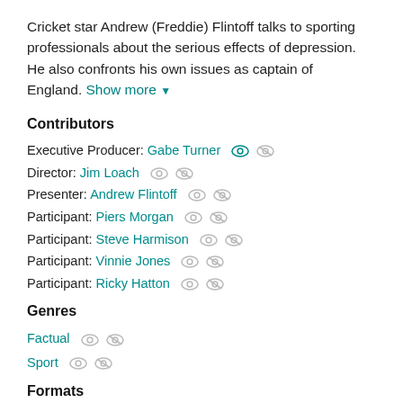Cricket star Andrew (Freddie) Flintoff talks to sporting professionals about the serious effects of depression. He also confronts his own issues as captain of England. Show more ▼
Contributors
Executive Producer: Gabe Turner
Director: Jim Loach
Presenter: Andrew Flintoff
Participant: Piers Morgan
Participant: Steve Harmison
Participant: Vinnie Jones
Participant: Ricky Hatton
Genres
Factual
Sport
Formats